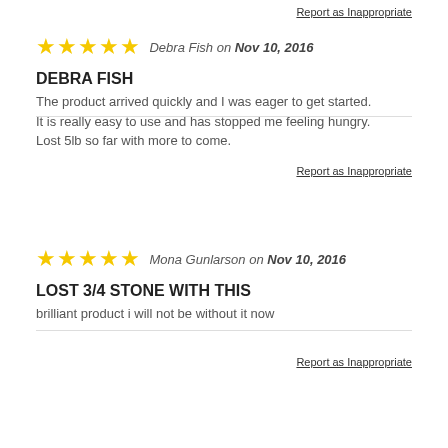Report as Inappropriate
★★★★★ Debra Fish on Nov 10, 2016
DEBRA FISH
The product arrived quickly and I was eager to get started. It is really easy to use and has stopped me feeling hungry. Lost 5lb so far with more to come.
Report as Inappropriate
★★★★★ Mona Gunlarson on Nov 10, 2016
LOST 3/4 STONE WITH THIS
brilliant product i will not be without it now
Report as Inappropriate